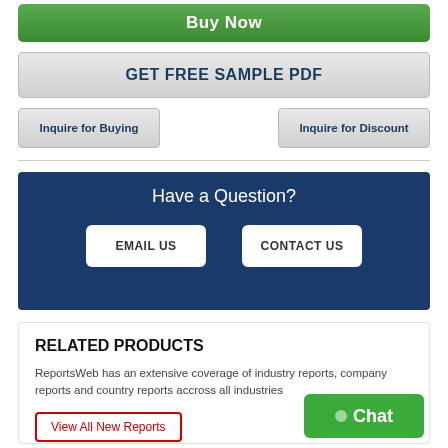Buy Now
GET FREE SAMPLE PDF
Inquire for Buying
Inquire for Discount
Have a Question?
EMAIL US
CONTACT US
RELATED PRODUCTS
ReportsWeb has an extensive coverage of industry reports, company reports and country reports accross all industries
View All New Reports
Chat